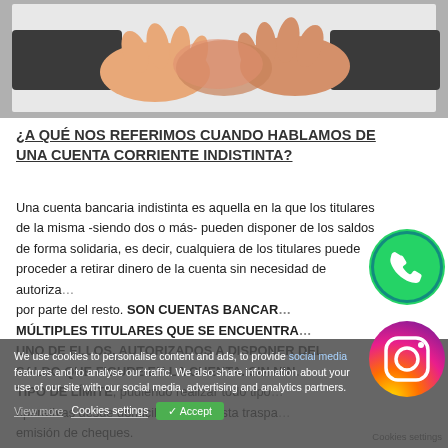[Figure (illustration): Handshake illustration showing two hands shaking — cartoon style with one dark-sleeved arm on each side]
¿A QUÉ NOS REFERIMOS CUANDO HABLAMOS DE UNA CUENTA CORRIENTE INDISTINTA?
Una cuenta bancaria indistinta es aquella en la que los titulares de la misma -siendo dos o más- pueden disponer de los saldos de forma solidaria, es decir, cualquiera de los titulares puede proceder a retirar dinero de la cuenta sin necesidad de autorización por parte del resto. SON CUENTAS BANCARIAS CON MÚLTIPLES TITULARES QUE SE ENCUENTRAN CUALQUIERA UNO DE ELLOS. AUTORIZADOS A DISPONER DEL SALDO QUE FIGURE EN LA CUENTA. SIN NINGÚN TIPO DE LÍMITE, pudiendo realizar todo tipo de operativas desde domiciliaciones hasta traspasos y emisión de cheques.
We use cookies to personalise content and ads, to provide social media features and to analyse our traffic. We also share information about your use of our site with our social media, advertising and analytics partners. View more | Cookies settings | ✓ Accept | Cookies settings